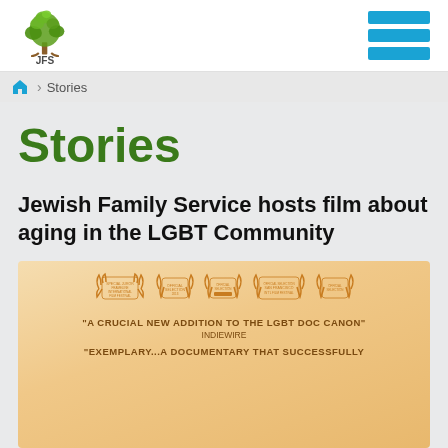[Figure (logo): JFS (Jewish Family Service) logo with green tree and leaves above text 'JFS']
[Figure (other): Blue hamburger/menu icon with three horizontal bars]
Home > Stories
Stories
Jewish Family Service hosts film about aging in the LGBT Community
[Figure (photo): Film poster with warm orange/gold background showing five film festival laurel wreaths and quotes: 'A CRUCIAL NEW ADDITION TO THE LGBT DOC CANON' - INDIEWIRE, and 'EXEMPLARY...A DOCUMENTARY THAT SUCCESSFULLY...']